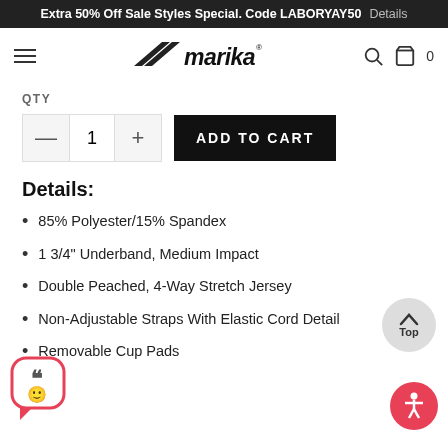Extra 50% Off Sale Styles Special. Code LABORYAY50  Details
[Figure (logo): Marika brand logo with stylized swoosh icon and italic text]
QTY
1  ADD TO CART
Details:
85% Polyester/15% Spandex
1 3/4" Underband, Medium Impact
Double Peached, 4-Way Stretch Jersey
Non-Adjustable Straps With Elastic Cord Detail
Removable Cup Pads